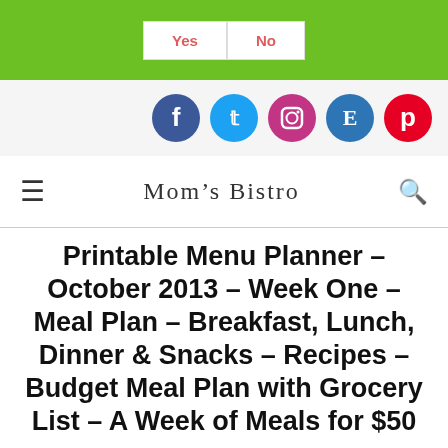[Figure (other): Green bar with Yes and No buttons (cookie consent or poll widget)]
[Figure (other): Social media icons: Facebook, Twitter, Instagram, Etsy, Pinterest]
Mom's Bistro
Printable Menu Planner – October 2013 – Week One – Meal Plan – Breakfast, Lunch, Dinner & Snacks – Recipes – Budget Meal Plan with Grocery List – A Week of Meals for $50